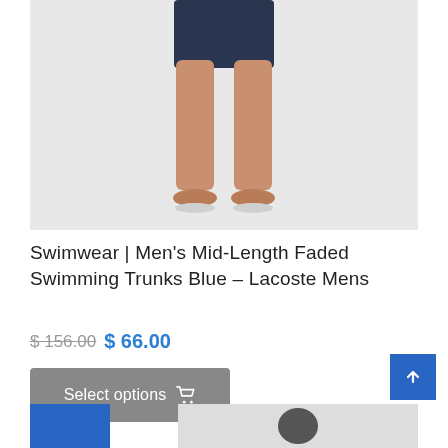[Figure (photo): Product photo showing lower body of male model wearing navy blue mid-length swimming trunks, bare feet on light gray background]
Swimwear | Men's Mid-Length Faded Swimming Trunks Blue – Lacoste Mens
$ 156.00 $ 66.00
Select options